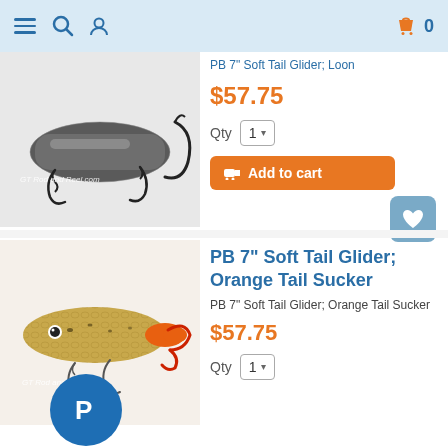Navigation bar with menu, search, user icons and shopping cart (0 items)
[Figure (photo): Fishing lure (dark metallic, treble hooks) with watermark GT Rod and Reel.com — partially cropped at top]
PB 7" Soft Tail Glider; Loon
$57.75
Qty  1
Add to cart
[Figure (photo): Fishing lure (olive/gold pattern with orange tail, treble hooks) with watermark GT Rod and Reel.com]
PB 7" Soft Tail Glider; Orange Tail Sucker
PB 7" Soft Tail Glider; Orange Tail Sucker
$57.75
Qty  1
[Figure (logo): PayPal circular blue badge with P logo]